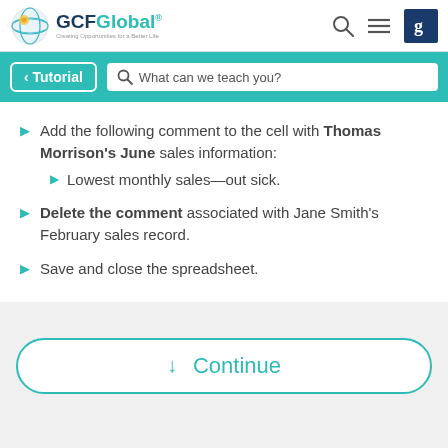GCFGlobal — Creating Opportunities for a Better Life
Add the following comment to the cell with Thomas Morrison's June sales information:
  Lowest monthly sales—out sick.
Delete the comment associated with Jane Smith's February sales record.
Save and close the spreadsheet.